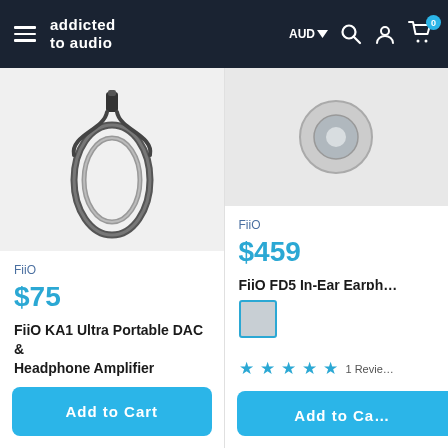addicted to audio — AUD — navigation header
[Figure (photo): FiiO KA1 cable/DAC product image showing twisted cable on light grey background]
FiiO
$75
FiiO KA1 Ultra Portable DAC & Headphone Amplifier
Add to Cart
[Figure (photo): FiiO FD5 In-Ear Earphone product image on grey background, showing earphone tip]
FiiO
$459
FiiO FD5 In-Ear Earph…
1 Review
Add to Ca…